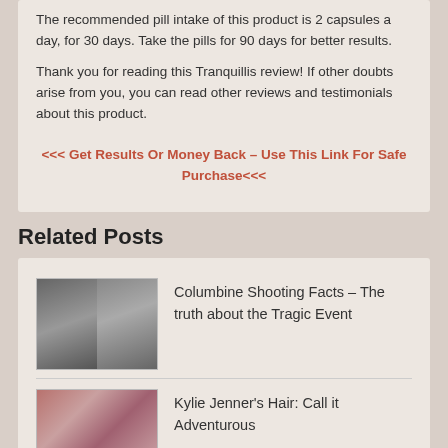The recommended pill intake of this product is 2 capsules a day, for 30 days. Take the pills for 90 days for better results.
Thank you for reading this Tranquillis review! If other doubts arise from you, you can read other reviews and testimonials about this product.
<<< Get Results Or Money Back – Use This Link For Safe Purchase<<<
Related Posts
Columbine Shooting Facts – The truth about the Tragic Event
Kylie Jenner's Hair: Call it Adventurous